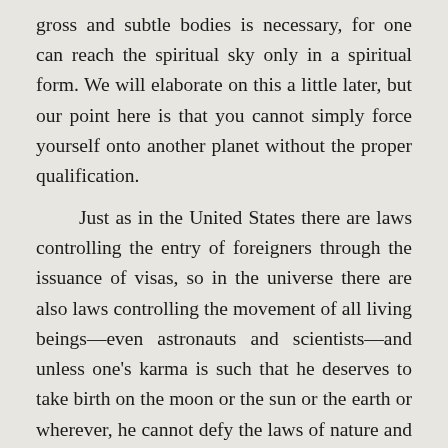gross and subtle bodies is necessary, for one can reach the spiritual sky only in a spiritual form. We will elaborate on this a little later, but our point here is that you cannot simply force yourself onto another planet without the proper qualification.

Just as in the United States there are laws controlling the entry of foreigners through the issuance of visas, so in the universe there are also laws controlling the movement of all living beings—even astronauts and scientists—and unless one's karma is such that he deserves to take birth on the moon or the sun or the earth or wherever, he cannot defy the laws of nature and go there by force. The scientists are always claiming they are independent of nature's law, but even they have to submit to death and rebirth; they cannot check them. Similarly, they cannot go to the moon planet, which the Vedas